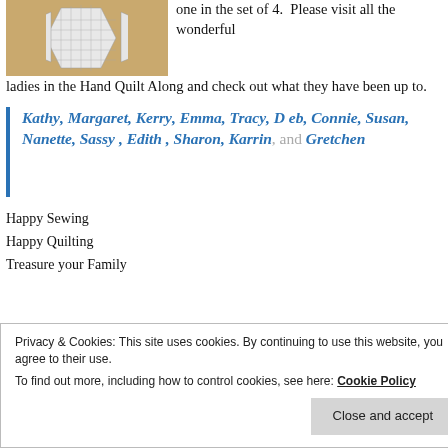[Figure (photo): Photo of quilt pieces/hexagon patches laid out on a tan/beige surface, showing gridded fabric pieces arranged in a star or flower pattern.]
one in the set of 4.  Please visit all the wonderful ladies in the Hand Quilt Along and check out what they have been up to.
Kathy, Margaret, Kerry, Emma, Tracy, Deb, Connie, Susan,  Nanette, Sassy , Edith , Sharon, Karrin, and Gretchen
Happy Sewing
Happy Quilting
Treasure your Family
Privacy & Cookies: This site uses cookies. By continuing to use this website, you agree to their use.
To find out more, including how to control cookies, see here: Cookie Policy